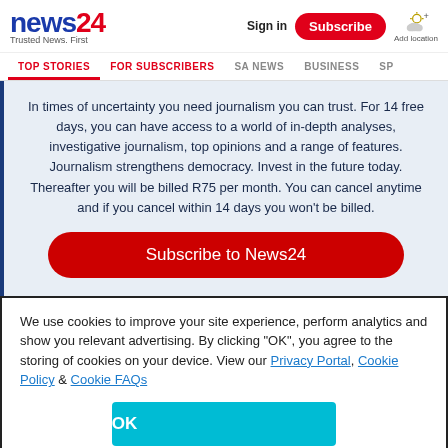news24 — Trusted News. First | Sign in | Subscribe | Add location
TOP STORIES | FOR SUBSCRIBERS | SA NEWS | BUSINESS | SP...
In times of uncertainty you need journalism you can trust. For 14 free days, you can have access to a world of in-depth analyses, investigative journalism, top opinions and a range of features. Journalism strengthens democracy. Invest in the future today. Thereafter you will be billed R75 per month. You can cancel anytime and if you cancel within 14 days you won't be billed.
Subscribe to News24
We use cookies to improve your site experience, perform analytics and show you relevant advertising. By clicking "OK", you agree to the storing of cookies on your device. View our Privacy Portal, Cookie Policy & Cookie FAQs
OK